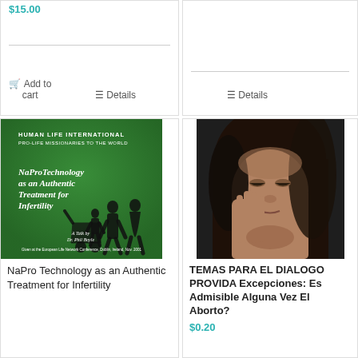$15.00
Add to cart
Details
Details
[Figure (photo): Book cover: NaProTechnology as an Authentic Treatment for Infertility, Human Life International, Pro-Life Missionaries to the World, a talk by Dr. Phil Boyle]
NaPro Technology as an Authentic Treatment for Infertility
[Figure (photo): Photo of a young woman resting her head on her hands, looking downward, with dark hair]
TEMAS PARA EL DIALOGO PROVIDA Excepciones: Es Admisible Alguna Vez El Aborto?
$0.20